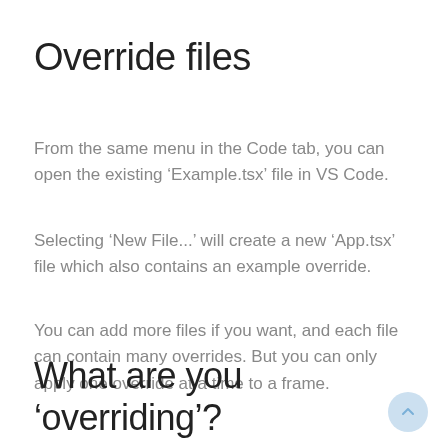Override files
From the same menu in the Code tab, you can open the existing ‘Example.tsx’ file in VS Code.
Selecting ‘New File...’ will create a new ‘App.tsx’ file which also contains an example override.
You can add more files if you want, and each file can contain many overrides. But you can only apply one override at a time to a frame.
What are you ‘overriding’?